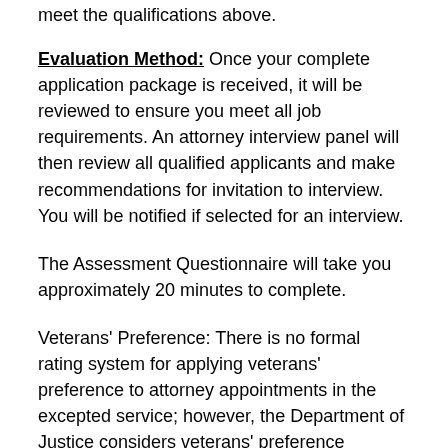meet the qualifications above.
Evaluation Method: Once your complete application package is received, it will be reviewed to ensure you meet all job requirements. An attorney interview panel will then review all qualified applicants and make recommendations for invitation to interview. You will be notified if selected for an interview.
The Assessment Questionnaire will take you approximately 20 minutes to complete.
Veterans' Preference: There is no formal rating system for applying veterans' preference to attorney appointments in the excepted service; however, the Department of Justice considers veterans' preference eligibility as a positive factor in attorney hiring. Applicants eligible for veterans' preference must indicate their preference in response to the appropriate